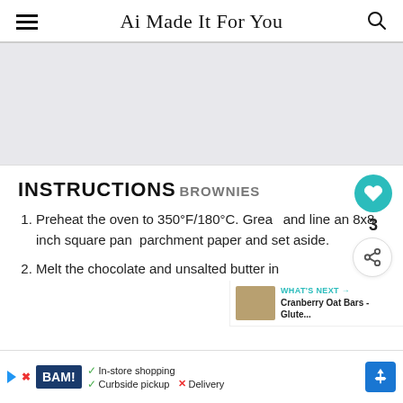Ai Made It For You
[Figure (photo): Gray placeholder image area for a recipe photo]
INSTRUCTIONS
BROWNIES
Preheat the oven to 350°F/180°C. Grease and line an 8x8 inch square pan with parchment paper and set aside.
Melt the chocolate and unsalted butter in
[Figure (screenshot): What's Next panel: Cranberry Oat Bars - Glute...]
[Figure (screenshot): Advertisement bar: BAM! In-store shopping, Curbside pickup, X Delivery]